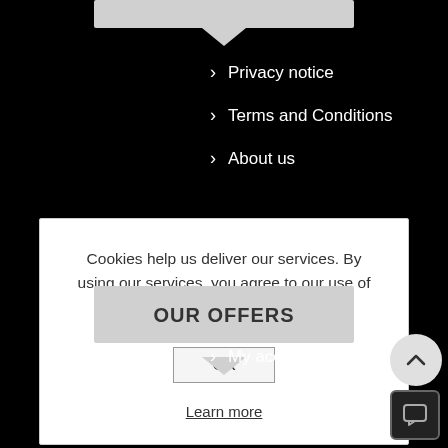› Privacy notice
› Terms and Conditions
› About us
Cookies help us deliver our services. By using our services, you agree to our use of cookies.
OK
Learn more
OUR OFFERS
› My account
› Orders
Leave a message